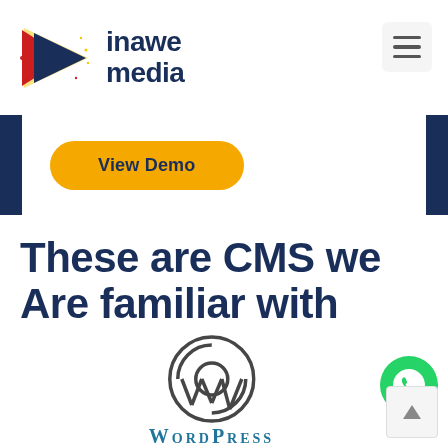[Figure (logo): Inawe Media logo: a play button icon in red/blue/yellow with stars, next to the text 'inawe media' in dark navy bold font]
[Figure (other): Hamburger menu button (three horizontal lines) in a light gray rounded square]
[Figure (other): Left and right vertical navy blue bars framing a yellow 'View Demo' pill button]
View Demo
These are CMS we Are familiar with
[Figure (other): WhatsApp green circle icon with phone handset]
[Figure (logo): WordPress logo: circular W icon in dark gray with 'WordPress' text below in blue/navy serif font]
[Figure (other): Scroll-to-top button: light gray square with upward triangle arrow]